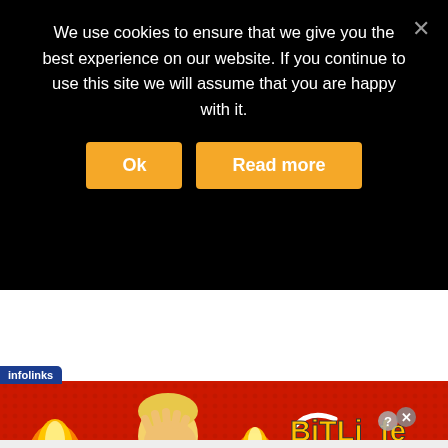We use cookies to ensure that we give you the best experience on our website. If you continue to use this site we will assume that you are happy with it.
[Figure (screenshot): Cookie consent banner with Ok and Read more buttons on black background]
[Figure (infographic): BitLife 'START A NEW LIFE' advertisement banner with FAIL text, facepalm emoji illustration, fire, and BitLife logo on red background. Infolinks label in top-left corner.]